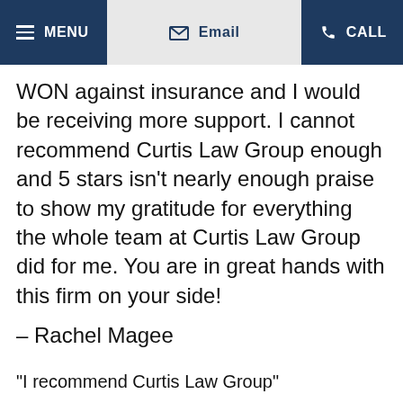MENU | Email | CALL
WON against insurance and I would be receiving more support. I cannot recommend Curtis Law Group enough and 5 stars isn't nearly enough praise to show my gratitude for everything the whole team at Curtis Law Group did for me. You are in great hands with this firm on your side!
– Rachel Magee
"I recommend Curtis Law Group"